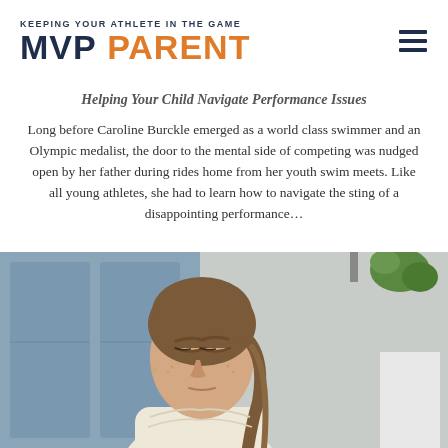KEEPING YOUR ATHLETE IN THE GAME — MVP PARENT
Helping Your Child Navigate Performance Issues
Long before Caroline Burckle emerged as a world class swimmer and an Olympic medalist, the door to the mental side of competing was nudged open by her father during rides home from her youth swim meets. Like all young athletes, she had to learn how to navigate the sting of a disappointing performance...
[Figure (photo): Young woman with eyes closed and head slightly bowed, appearing contemplative or disappointed, with brown hair pulled back; indoor background with lockers/panels and green plant decor visible.]